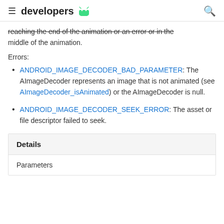developers
reaching the end of the animation or an error or in the middle of the animation.
Errors:
ANDROID_IMAGE_DECODER_BAD_PARAMETER: The AImageDecoder represents an image that is not animated (see AImageDecoder_isAnimated) or the AImageDecoder is null.
ANDROID_IMAGE_DECODER_SEEK_ERROR: The asset or file descriptor failed to seek.
Details
Parameters